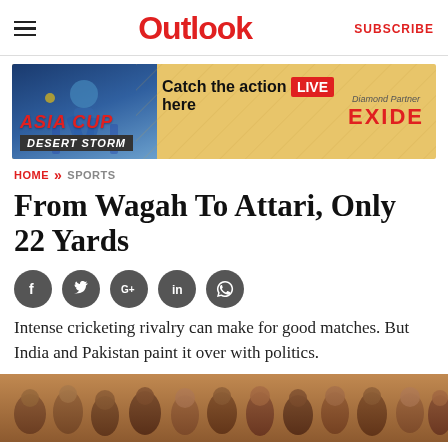Outlook | SUBSCRIBE
[Figure (infographic): Asia Cup Desert Storm advertisement banner. Text: Catch the action LIVE here. Diamond Partner: EXIDE.]
HOME » SPORTS
From Wagah To Attari, Only 22 Yards
[Figure (infographic): Social media sharing icons: Facebook, Twitter, Google+, LinkedIn, WhatsApp]
Intense cricketing rivalry can make for good matches. But India and Pakistan paint it over with politics.
[Figure (photo): Crowd of people, likely cricket fans, at an outdoor venue.]